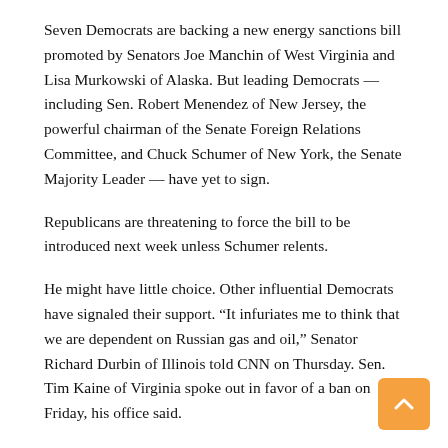Seven Democrats are backing a new energy sanctions bill promoted by Senators Joe Manchin of West Virginia and Lisa Murkowski of Alaska. But leading Democrats — including Sen. Robert Menendez of New Jersey, the powerful chairman of the Senate Foreign Relations Committee, and Chuck Schumer of New York, the Senate Majority Leader — have yet to sign.
Republicans are threatening to force the bill to be introduced next week unless Schumer relents.
He might have little choice. Other influential Democrats have signaled their support. “It infuriates me to think that we are dependent on Russian gas and oil,” Senator Richard Durbin of Illinois told CNN on Thursday. Sen. Tim Kaine of Virginia spoke out in favor of a ban on Friday, his office said.
The case for more penalties
Republicans are pushing for even more aggressive measures, such as so-called secondary sanctions against foreign institutions that do business with Russia, in addition to cutting off the Kremlin’s sources of hard currency from commodity sales. And they are calling for an unrestrained defense of Ukraine, even as administration officials signal pessimism about Kyiv’s